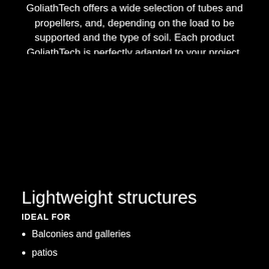GoliathTech offers a wide selection of tubes and propellers, and, depending on the load to be supported and the type of soil. Each product GoliathTech is perfectly adapted to your project.
[Figure (photo): Dark/black background area occupying the middle section of the page]
Lightweight structures
IDEAL FOR
Balconies and galleries
patios